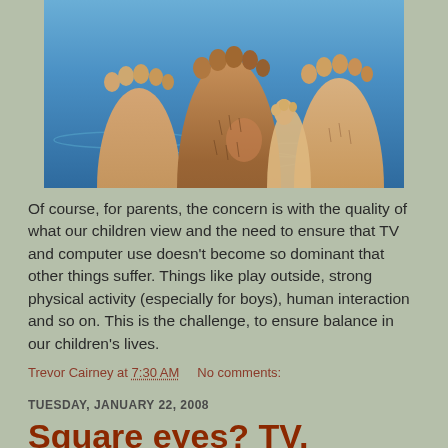[Figure (photo): Close-up of three pairs of feet/legs dangling over a blue swimming pool. Two pairs of adult legs and one smaller child's leg visible against a bright blue pool water background.]
Of course, for parents, the concern is with the quality of what our children view and the need to ensure that TV and computer use doesn't become so dominant that other things suffer. Things like play outside, strong physical activity (especially for boys), human interaction and so on. This is the challenge, to ensure balance in our children's lives.
Trevor Cairney at 7:30 AM    No comments:
TUESDAY, JANUARY 22, 2008
Square eyes? TV, computers & Kids